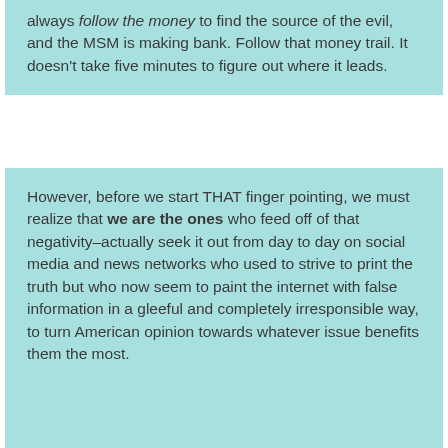always follow the money to find the source of the evil, and the MSM is making bank. Follow that money trail. It doesn't take five minutes to figure out where it leads.
However, before we start THAT finger pointing, we must realize that we are the ones who feed off of that negativity–actually seek it out from day to day on social media and news networks who used to strive to print the truth but who now seem to paint the internet with false information in a gleeful and completely irresponsible way, to turn American opinion towards whatever issue benefits them the most.